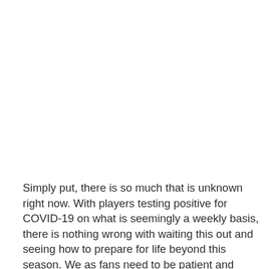Simply put, there is so much that is unknown right now. With players testing positive for COVID-19 on what is seemingly a weekly basis, there is nothing wrong with waiting this out and seeing how to prepare for life beyond this season. We as fans need to be patient and realize that nothing is clear at this point. It has certainly